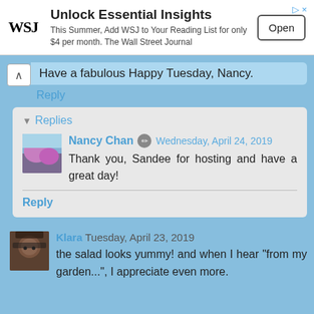[Figure (infographic): WSJ advertisement banner: 'Unlock Essential Insights' with WSJ logo, text 'This Summer, Add WSJ to Your Reading List for only $4 per month. The Wall Street Journal', and an 'Open' button.]
Have a fabulous Happy Tuesday, Nancy.
Reply
Replies
Nancy Chan  Wednesday, April 24, 2019
Thank you, Sandee for hosting and have a great day!
Reply
Klara  Tuesday, April 23, 2019
the salad looks yummy! and when I hear "from my garden...", I appreciate even more.